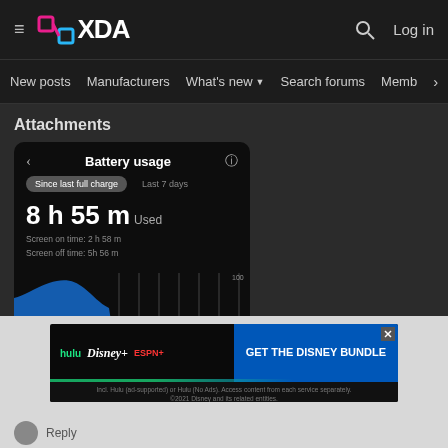XDA — Log in
New posts  Manufacturers  What's new  Search forums  Members  >
Attachments
[Figure (screenshot): Screenshot of Android Battery usage screen showing '8 h 55 m Used', 'Screen on time: 2 h 58 m', 'Screen off time: 5h 56 m', tabs for 'Since last full charge' and 'Last 7 days', and a bar chart of usage. File labeled Screenshot_20220527-193...]
[Figure (screenshot): Advertisement banner for Disney Bundle showing Hulu, Disney+, ESPN+ logos with 'GET THE DISNEY BUNDLE' call to action. Text: 'Incl. Hulu (ad-supported) or Hulu (No Ads). Access content from each service separately. ©2021 Disney and its related entities.']